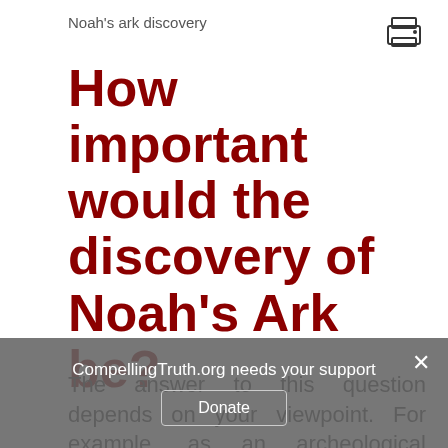Noah's ark discovery
[Figure (other): Printer icon in top-right corner]
How important would the discovery of Noah's Ark be?
The answer to this question depends on your viewpoint. For example, as an archeological discovery, the excavation of Noah's Ark would be very important
CompellingTruth.org needs your support
Donate